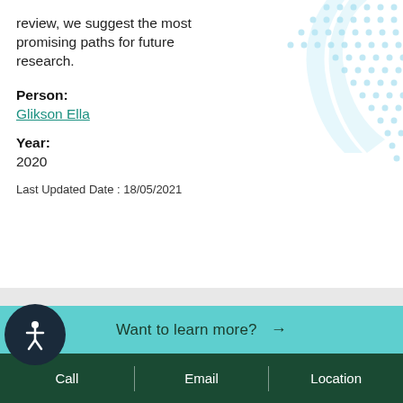review, we suggest the most promising paths for future research.
Person:
Glikson Ella
Year:
2020
Last Updated Date : 18/05/2021
[Figure (illustration): Decorative teal dot pattern / geometric design in upper right corner]
Want to learn more? →
Call | Email | Location